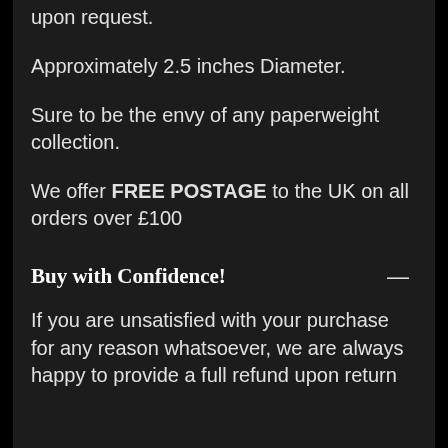upon request.
Approximately 2.5 inches Diameter.
Sure to be the envy of any paperweight collection.
We offer FREE POSTAGE to the UK on all orders over £100
Buy with Confidence!
If you are unsatisfied with your purchase for any reason whatsoever, we are always happy to provide a full refund upon return